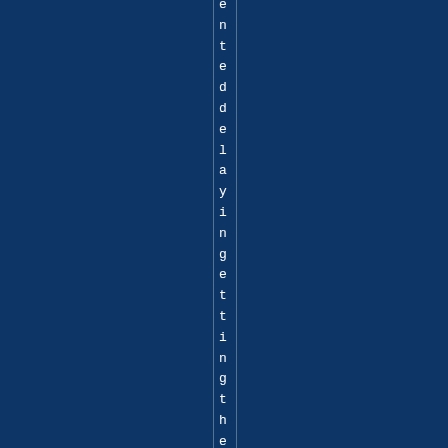[Figure (other): Dark navy blue background page with a narrow vertical strip/column in the center containing white text rotated vertically reading 'enteddel ayingettingthefinalte x' letter by letter, one character per line]